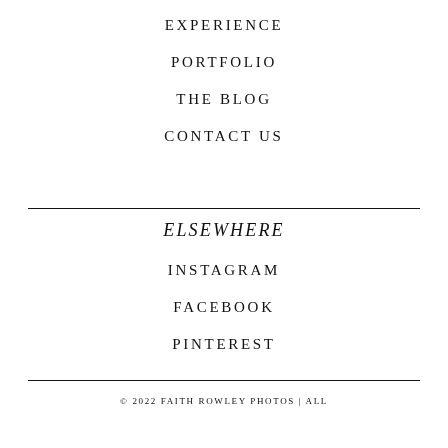EXPERIENCE
PORTFOLIO
THE BLOG
CONTACT US
ELSEWHERE
INSTAGRAM
FACEBOOK
PINTEREST
© 2022 FAITH ROWLEY PHOTOS | ALL